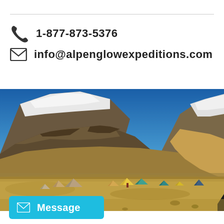1-877-873-5376
info@alpenglowexpeditions.com
[Figure (photo): Mountain base camp scene with colorful tents scattered across a high-altitude plateau, with large brown rocky mountains and snow-capped peaks in the background under a deep blue sky.]
Message